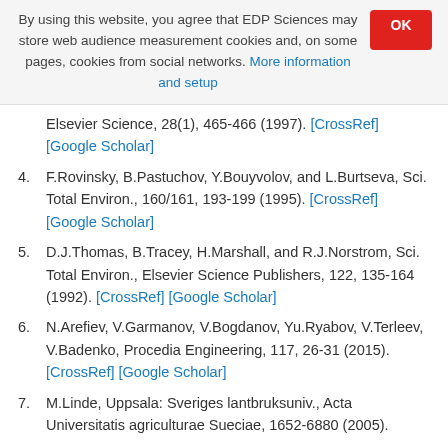By using this website, you agree that EDP Sciences may store web audience measurement cookies and, on some pages, cookies from social networks. More information and setup
4. F.Rovinsky, B.Pastuchov, Y.Bouyvolov, and L.Burtseva, Sci. Total Environ., 160/161, 193-199 (1995). [CrossRef] [Google Scholar]
5. D.J.Thomas, B.Tracey, H.Marshall, and R.J.Norstrom, Sci. Total Environ., Elsevier Science Publishers, 122, 135-164 (1992). [CrossRef] [Google Scholar]
6. N.Arefiev, V.Garmanov, V.Bogdanov, Yu.Ryabov, V.Terleev, V.Badenko, Procedia Engineering, 117, 26-31 (2015). [CrossRef] [Google Scholar]
7. M.Linde, Uppsala: Sveriges lantbruksuniv., Acta Universitatis agriculturae Sueciae, 1652-6880 (2005).